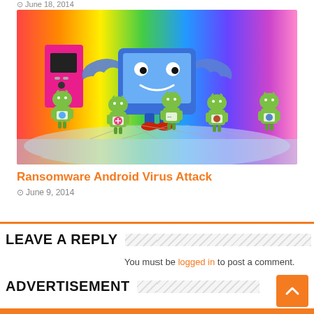June 18, 2014
[Figure (illustration): Cartoon illustration of a smiling blue computer monitor character with blue hands acting as a puppeteer, controlling several green Android robot figures on strings, with a colorful rainbow striped background and a pink computer tower on the left.]
Ransomware Android Virus Attack
June 9, 2014
LEAVE A REPLY
You must be logged in to post a comment.
ADVERTISEMENT